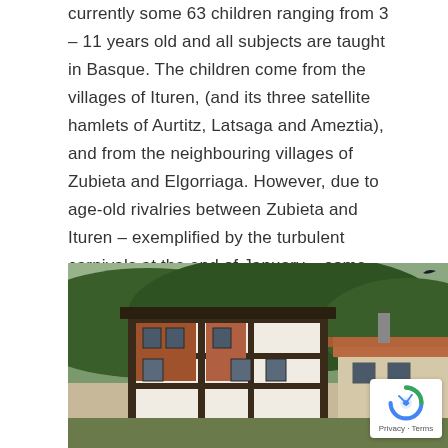currently some 63 children ranging from 3 – 11 years old and all subjects are taught in Basque. The children come from the villages of Ituren, (and its three satellite hamlets of Aurtitz, Latsaga and Ameztia), and from the neighbouring villages of Zubieta and Elgorriaga. However, due to age-old rivalries between Zubieta and Ituren – exemplified by the turbulent carnivals at the end of January – some parents in Zubieta choose to avoid 'hostile territory' and send their children to the larger school, further afield, in Santesteban/Donestebe.
[Figure (photo): Photo of a traditional Basque-style building with white and dark timber-framed facade, set against a forested hillside with mist. Another traditional building with terracotta roof tiles is visible in the foreground right.]